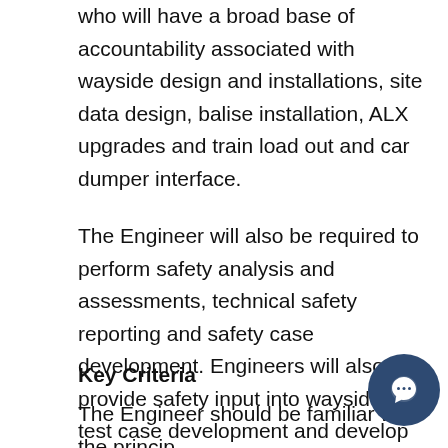who will have a broad base of accountability associated with wayside design and installations, site data design, balise installation, ALX upgrades and train load out and car dumper interface.
The Engineer will also be required to perform safety analysis and assessments, technical safety reporting and safety case development. Engineers will also provide safety input into wayside and test case development and develop system integration and legacy equipment interface safety cases as required.
Key Criteria
The Engineer should be familiar with the principles of heavy haul rail, wayside, signalling, LX engineering and iron ore mining operations. The engineer will